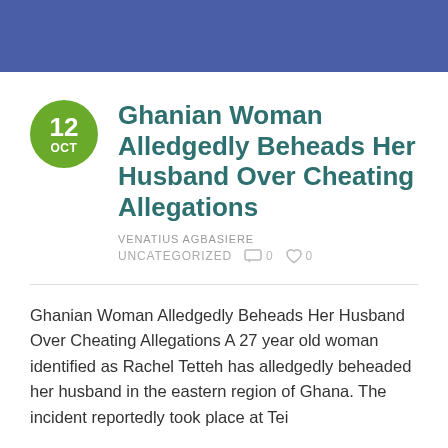Ghanian Woman Alledgedly Beheads Her Husband Over Cheating Allegations
VENATIUS AGBASIERE
UNCATEGORIZED  0  0
Ghanian Woman Alledgedly Beheads Her Husband Over Cheating Allegations A 27 year old woman identified as Rachel Tetteh has alledgedly beheaded her husband in the eastern region of Ghana. The incident reportedly took place at Tei